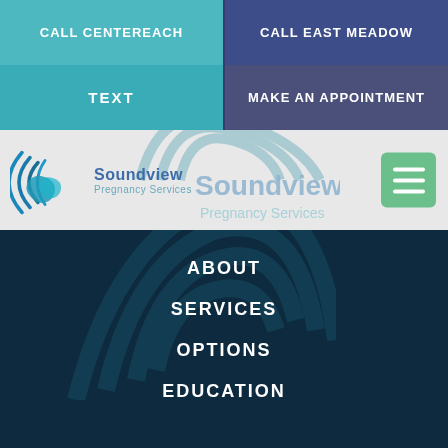CALL CENTEREACH
CALL EAST MEADOW
TEXT
MAKE AN APPOINTMENT
[Figure (logo): Soundview Pregnancy Services logo with teal wave/sound wave graphic and text]
ABOUT
SERVICES
OPTIONS
EDUCATION